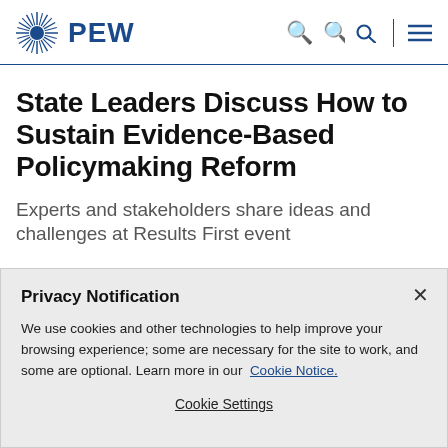PEW
State Leaders Discuss How to Sustain Evidence-Based Policymaking Reform
Experts and stakeholders share ideas and challenges at Results First event
Privacy Notification
We use cookies and other technologies to help improve your browsing experience; some are necessary for the site to work, and some are optional. Learn more in our Cookie Notice.
Cookie Settings